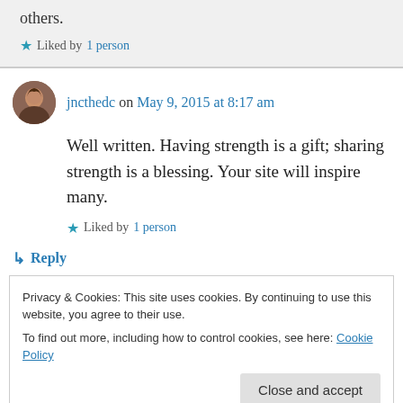others.
Liked by 1 person
jncthedc on May 9, 2015 at 8:17 am
Well written. Having strength is a gift; sharing strength is a blessing. Your site will inspire many.
Liked by 1 person
Reply
Privacy & Cookies: This site uses cookies. By continuing to use this website, you agree to their use.
To find out more, including how to control cookies, see here: Cookie Policy
Close and accept
Liked by 1 person